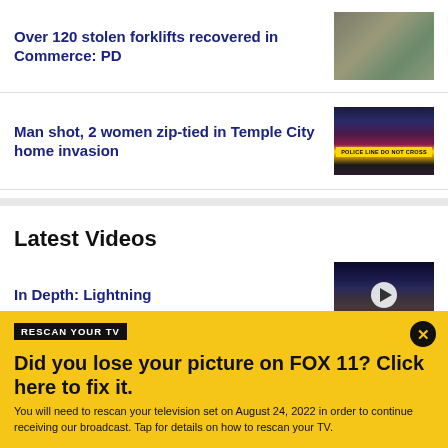Over 120 stolen forklifts recovered in Commerce: PD
[Figure (photo): Photo of recovered forklifts in a warehouse or lot]
Man shot, 2 women zip-tied in Temple City home invasion
[Figure (photo): Police line do not cross tape with flashing lights]
Latest Videos
In Depth: Lightning
[Figure (photo): Lightning strike photo with palm trees silhouette and video play button overlay]
RESCAN YOUR TV
Did you lose your picture on FOX 11? Click here to fix it.
You will need to rescan your television set on August 24, 2022 in order to continue receiving our broadcast. Tap for details on how to rescan your TV.